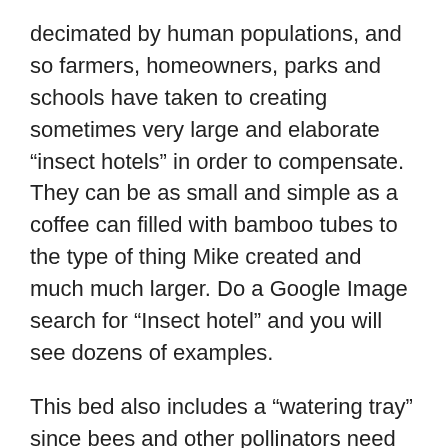decimated by human populations, and so farmers, homeowners, parks and schools have taken to creating sometimes very large and elaborate “insect hotels” in order to compensate. They can be as small and simple as a coffee can filled with bamboo tubes to the type of thing Mike created and much much larger. Do a Google Image search for “Insect hotel” and you will see dozens of examples.
This bed also includes a “watering tray” since bees and other pollinators need water, too. It’s a small clay tray filled with sand and pebbles allowing safe and easy access to the water without drowning. Next to this tray is a bare sandy “bank” surrounded by grasses that can act as a nesting site for the many types of ground nesting bees native to Oregon.
The garden is also filled with a variety of plants that will bloom from late winter through the summer